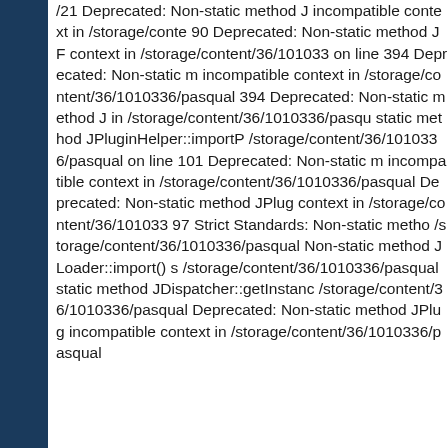/21 Deprecated: Non-static method J incompatible context in /storage/conte 90 Deprecated: Non-static method JF context in /storage/content/36/101033 on line 394 Deprecated: Non-static m incompatible context in /storage/content/36/1010336/pasqual 394 Deprecated: Non-static method J in /storage/content/36/1010336/pasqu static method JPluginHelper::importP /storage/content/36/1010336/pasqual on line 101 Deprecated: Non-static m incompatible context in /storage/content/36/1010336/pasqual Deprecated: Non-static method JPlug context in /storage/content/36/101033 97 Strict Standards: Non-static metho /storage/content/36/1010336/pasqual Non-static method JLoader::import() s /storage/content/36/1010336/pasqual static method JDispatcher::getInstance /storage/content/36/1010336/pasqual Deprecated: Non-static method JPlug incompatible context in /storage/content/36/1010336/pasqual